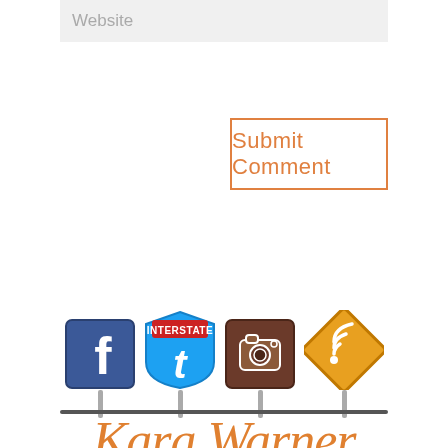Website
Submit Comment
[Figure (illustration): Four social media road sign icons on poles: Facebook (blue square sign), Twitter (blue interstate shield sign), Instagram (brown square sign), RSS feed (yellow diamond sign)]
Kara Warner